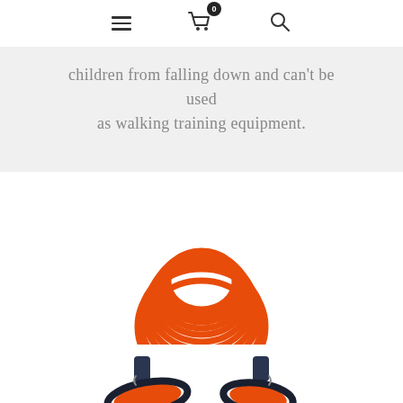Navigation bar with hamburger menu, cart (0 items), and search icon
children from falling down and can't be used as walking training equipment.
[Figure (photo): Orange coiled wrist leash / anti-lost safety tether with two black and orange wrist strap ends, photographed on white background]